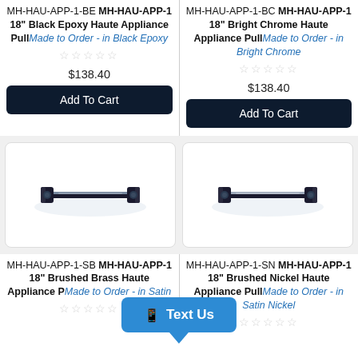MH-HAU-APP-1-BE MH-HAU-APP-1 18" Black Epoxy Haute Appliance Pull Made to Order - in Black Epoxy
MH-HAU-APP-1-BC MH-HAU-APP-1 18" Bright Chrome Haute Appliance Pull Made to Order - in Bright Chrome
$138.40
$138.40
Add To Cart
Add To Cart
[Figure (photo): Black Epoxy Haute Appliance Pull hardware handle]
[Figure (photo): Bright Chrome Haute Appliance Pull hardware handle]
MH-HAU-APP-1-SB MH-HAU-APP-1 18" Brushed Brass Haute Appliance Pull Made to Order - in Satin Brass
MH-HAU-APP-1-SN MH-HAU-APP-1 18" Brushed Nickel Haute Appliance Pull Made to Order - in Satin Nickel
Text Us